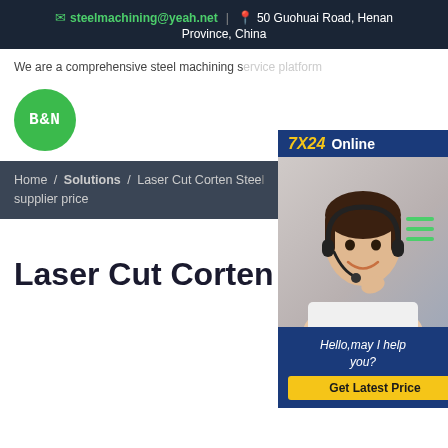steelmachining@yeah.net | 50 Guohuai Road, Henan Province, China
We are a comprehensive steel machining service platform...
[Figure (logo): B&N green circle logo]
Home / Solutions / Laser Cut Corten Steel supplier price
[Figure (photo): Customer service representative with headset, 7X24 Online chat widget with Hello, may I help you? and Get Latest Price button]
Laser Cut Corten Steel